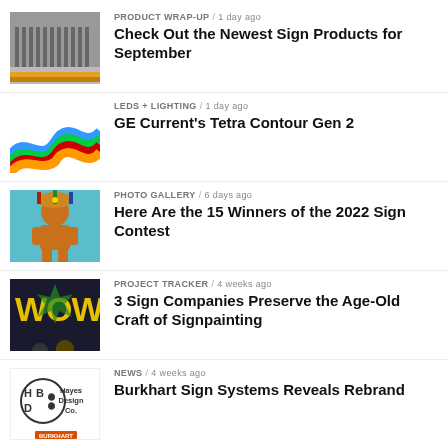PRODUCT WRAP-UP / 1 day ago — Check Out the Newest Sign Products for September
LEDS + LIGHTING / 1 day ago — GE Current's Tetra Contour Gen 2
PHOTO GALLERY / 6 days ago — Here Are the 15 Winners of the 2022 Sign Contest
PROJECT TRACKER / 4 weeks ago — 3 Sign Companies Preserve the Age-Old Craft of Signpainting
NEWS / 4 weeks ago — Burkhart Sign Systems Reveals Rebrand